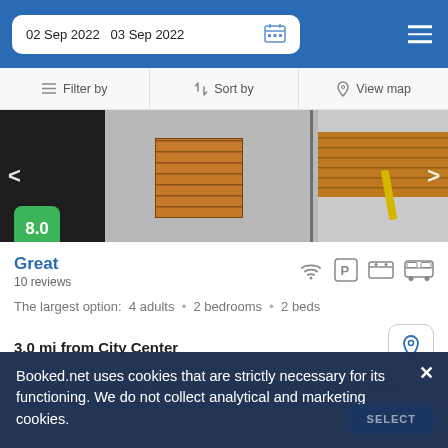02 Sep 2022  03 Sep 2022
Filter by  Sort by  View map
[Figure (photo): Exterior photo of a building with dark walls on the left, gray concrete walls in the center, and wooden slat panels. Navigation arrows on left and right.]
Great
10 reviews
The largest option:  4 adults  •  2 bedrooms  •  2 beds
3.0 mi from City Center
Boasting a sunny patio, this 2-bedroom apartment is located a short distance from Go Shark Diving and Donald Greig
Booked.net uses cookies that are strictly necessary for its functioning. We do not collect analytical and marketing cookies.